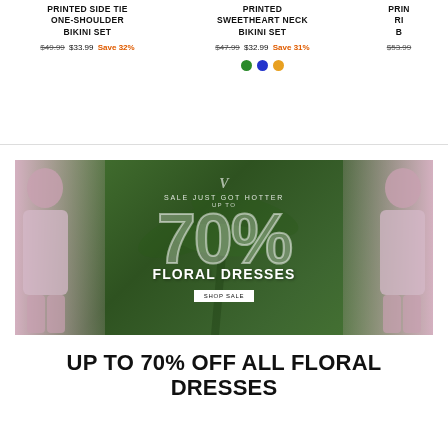PRINTED SIDE TIE ONE-SHOULDER BIKINI SET
$49.99 $33.99 Save 32%
PRINTED SWEETHEART NECK BIKINI SET
$47.99 $32.99 Save 31%
PRIN... RI... B...
$53.99
[Figure (photo): Banner ad for floral dresses sale showing two models wearing floral dresses with tropical background, text reading SALE JUST GOT HOTTER UP TO 70% FLORAL DRESSES with Shop Sale button]
UP TO 70% OFF ALL FLORAL DRESSES